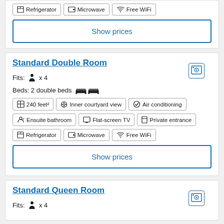Refrigerator, Microwave, Free WiFi (amenity badges - top card partial)
Show prices
Standard Double Room
Fits: person x 4
Beds: 2 double beds
240 feet² | Inner courtyard view | Air conditioning | Ensuite bathroom | Flat-screen TV | Private entrance | Refrigerator | Microwave | Free WiFi
Show prices
Standard Queen Room
Fits: person x 4